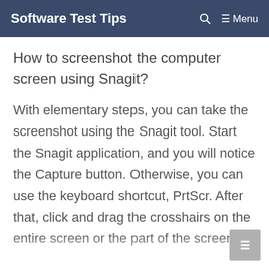Software Test Tips  🔍  ☰ Menu
How to screenshot the computer screen using Snagit?
With elementary steps, you can take the screenshot using the Snagit tool. Start the Snagit application, and you will notice the Capture button. Otherwise, you can use the keyboard shortcut, PrtScr. After that, click and drag the crosshairs on the entire screen or the part of the screen.